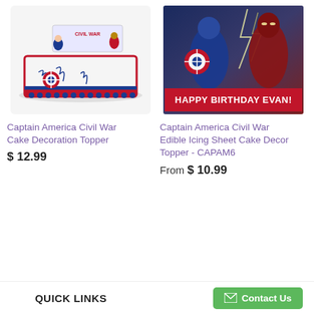[Figure (photo): Captain America Civil War cake decoration topper product photo showing a decorated sheet cake with Civil War themed figurines and piping]
[Figure (photo): Captain America Civil War edible icing sheet with Captain America and Iron Man fighting, text reads HAPPY BIRTHDAY EVAN!]
Captain America Civil War Cake Decoration Topper
$ 12.99
Captain America Civil War Edible Icing Sheet Cake Decor Topper - CAPAM6
From $ 10.99
QUICK LINKS
Contact Us